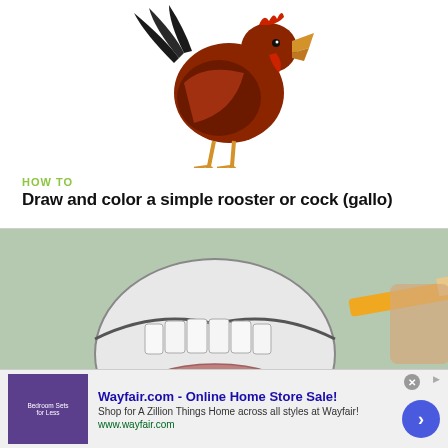[Figure (illustration): Partial illustration of a rooster/cock (gallo) in brown and black colors, showing the head, body and feet, with an open beak.]
HOW TO
Draw and color a simple rooster or cock (gallo)
[Figure (photo): A pencil drawing in progress of an open human mouth with teeth visible, being drawn with a yellow pencil on light green paper background.]
[Figure (screenshot): Wayfair.com advertisement banner: 'Wayfair.com - Online Home Store Sale! Shop for A Zillion Things Home across all styles at Wayfair! www.wayfair.com' with a purple thumbnail image and navigation arrow button.]